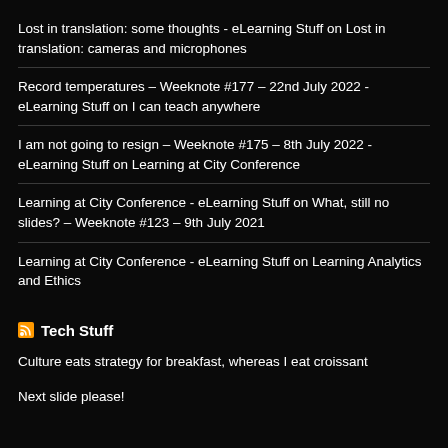Lost in translation: some thoughts - eLearning Stuff on Lost in translation: cameras and microphones
Record temperatures – Weeknote #177 – 22nd July 2022 - eLearning Stuff on I can teach anywhere
I am not going to resign – Weeknote #175 – 8th July 2022 - eLearning Stuff on Learning at City Conference
Learning at City Conference - eLearning Stuff on What, still no slides? – Weeknote #123 – 9th July 2021
Learning at City Conference - eLearning Stuff on Learning Analytics and Ethics
Tech Stuff
Culture eats strategy for breakfast, whereas I eat croissant
Next slide please!